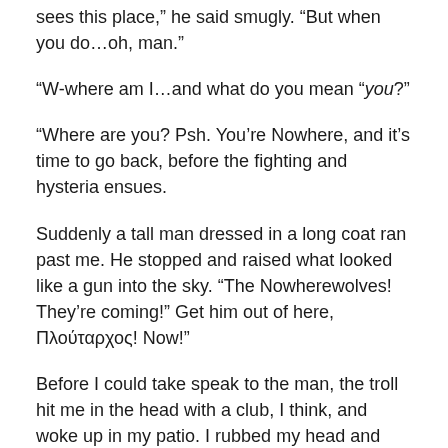sees this place,” he said smugly. “But when you do…oh, man.”
“W-where am I…and what do you mean “you?”
“Where are you? Psh. You’re Nowhere, and it’s time to go back, before the fighting and hysteria ensues.
Suddenly a tall man dressed in a long coat ran past me. He stopped and raised what looked like a gun into the sky. “The Nowherewolves! They’re coming!” Get him out of here, Πλούταρχος! Now!”
Before I could take speak to the man, the troll hit me in the head with a club, I think, and woke up in my patio. I rubbed my head and was confused for a minute. Then I got up and headed straight to the computer, and immediately began typing. What a story I had now!